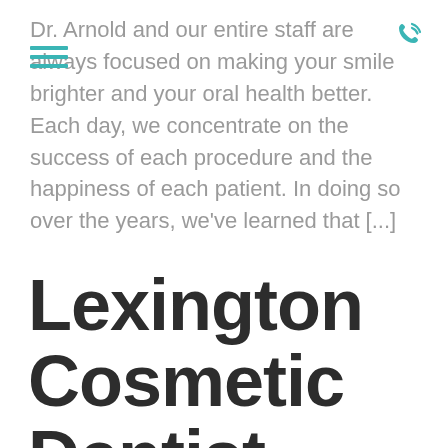Dr. Arnold and our entire staff are always focused on making your smile brighter and your oral health better. Each day, we concentrate on the success of each procedure and the happiness of each patient. In doing so over the years, we've learned that [...]
Lexington Cosmetic Dentist